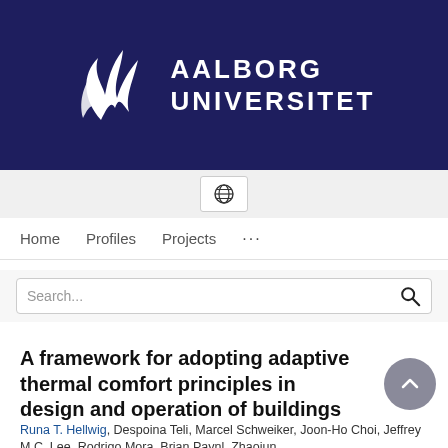[Figure (logo): Aalborg Universitet logo with white stylized flame/feather icon and bold white text reading AALBORG UNIVERSITET on dark navy background]
[Figure (screenshot): Globe/language selector icon button]
Home   Profiles   Projects   ...
Search...
A framework for adopting adaptive thermal comfort principles in design and operation of buildings
Runa T. Hellwig, Despoina Teli, Marcel Schweiker, Joon-Ho Choi, Jeffrey M.C. Lee, Rodrigo Mora, Brian Paynl, Zhaojun